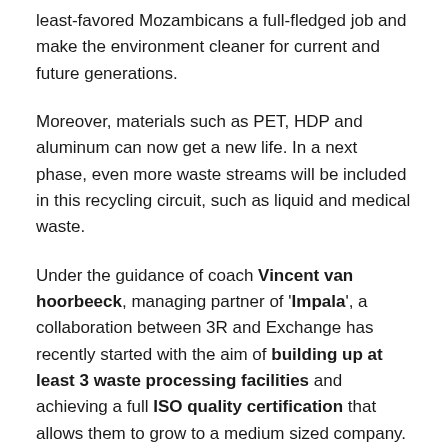least-favored Mozambicans a full-fledged job and make the environment cleaner for current and future generations.
Moreover, materials such as PET, HDP and aluminum can now get a new life. In a next phase, even more waste streams will be included in this recycling circuit, such as liquid and medical waste.
Under the guidance of coach Vincent van hoorbeeck, managing partner of 'Impala', a collaboration between 3R and Exchange has recently started with the aim of building up at least 3 waste processing facilities and achieving a full ISO quality certification that allows them to grow to a medium sized company. In addition, 3R also wants to convert PET into reusable products (tiles,